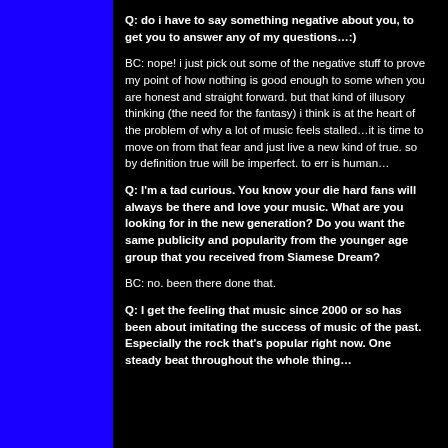Q: do i have to say something negative about you, to get you to answer any of my questions…:)
BC: nope! i just pick out some of the negative stuff to prove my point of how nothing is good enough to some when you are honest and straight forward. but that kind of illusory thinking (the need for the fantasy) i think is at the heart of the problem of why a lot of music feels stalled…it is time to move on from that fear and just live a new kind of true. so by definition true will be imperfect. to err is human…
Q: I'm a tad curious. You know your die hard fans will always be there and love your music. What are you looking for in the new generation? Do you want the same publicity and popularity from the younger age group that you received from Siamese Dream?
BC: no. been there done that.
Q: I get the feeling that music since 2000 or so has been about imitating the success of music of the past. Especially the rock that's popular right now. One steady beat throughout the whole thing…